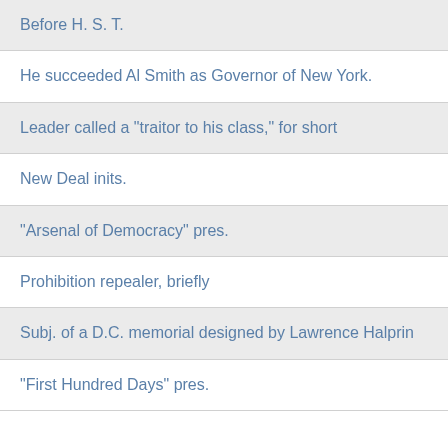Before H. S. T.
He succeeded Al Smith as Governor of New York.
Leader called a "traitor to his class," for short
New Deal inits.
"Arsenal of Democracy" pres.
Prohibition repealer, briefly
Subj. of a D.C. memorial designed by Lawrence Halprin
"First Hundred Days" pres.